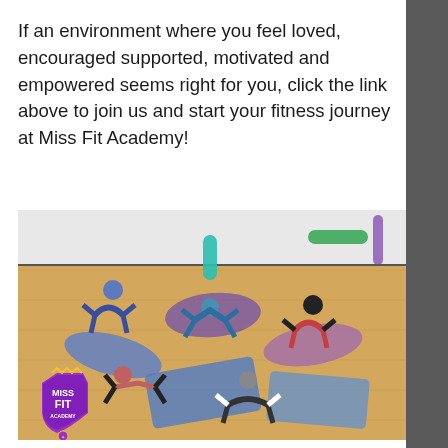If an environment where you feel loved, encouraged supported, motivated and empowered seems right for you, click the link above to join us and start your fitness journey at Miss Fit Academy!
[Figure (photo): A group of women doing a yoga/fitness class on colorful mats on a wooden floor, performing bridge-like and downward dog poses arranged in a circle. A Miss Fit Academy logo is visible in the bottom left corner of the photo.]